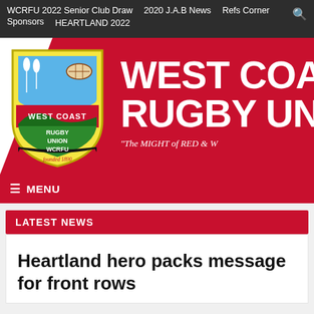WCRFU 2022 Senior Club Draw  2020 J.A.B News  Refs Corner  Sponsors  HEARTLAND 2022
[Figure (logo): West Coast Rugby Union shield logo with heron, rugby ball, landscape, red banner reading WEST COAST, green base reading RUGBY UNION, black ribbon reading WCRFU founded 1890. Large red banner background with white text WEST COAST RUGBY UNION and tagline The MIGHT of RED & W...]
≡ MENU
LATEST NEWS
Heartland hero packs message for front rows